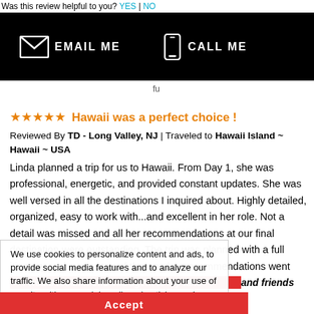Was this review helpful to you? YES | NO
[Figure (screenshot): Black navigation bar with EMAIL ME (envelope icon) and CALL ME (phone icon) buttons on dark background]
fu
★★★★★ Hawaii was a perfect choice !
Reviewed By TD - Long Valley, NJ | Traveled to Hawaii Island ~ Hawaii ~ USA
Linda planned a trip for us to Hawaii. From Day 1, she was professional, energetic, and provided constant updates. She was well versed in all the destinations I inquired about. Highly detailed, organized, easy to work with...and excellent in her role. Not a detail was missed and all her recommendations at our final destination were outstanding. The trip was planned with a full itinerary and every step of the way her recommendations went [beyond] for any trip as I will in the
We use cookies to personalize content and ads, to provide social media features and to analyze our traffic. We also share information about your use of our site with our social media, advertising and analytics partners. More Info.
✓ I would recommend this agent to my family and friends
Was this review helpful to you?